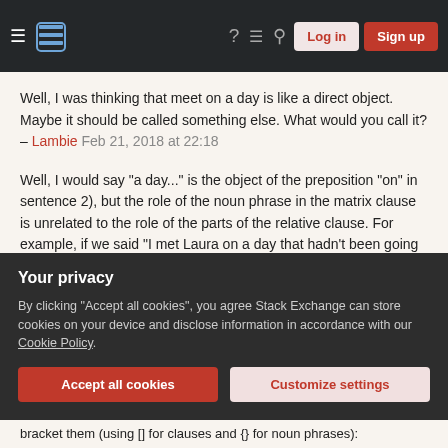Stack Exchange navigation bar with hamburger menu, logo, help, chat, search icons, Log in and Sign up buttons
Well, I was thinking that meet on a day is like a direct object. Maybe it should be called something else. What would you call it? – Lambie Feb 21, 2018 at 22:18
Well, I would say "a day..." is the object of the preposition "on" in sentence 2), but the role of the noun phrase in the matrix clause is unrelated to the role of the parts of the relative clause. For example, if we said "I met Laura on a day that hadn't been going well for me", then even though "a day..." is the object of the preposition "on", the word that cannot be omitted. Same for something like "I will always remember the day that came after"; it can't be replaced with "I will always remember the day came after" just because "the day..." is the object of the matrix clause. – herisson
Your privacy
By clicking "Accept all cookies", you agree Stack Exchange can store cookies on your device and disclose information in accordance with our Cookie Policy.
Accept all cookies
Customize settings
bracket them (using [] for clauses and {} for noun phrases):